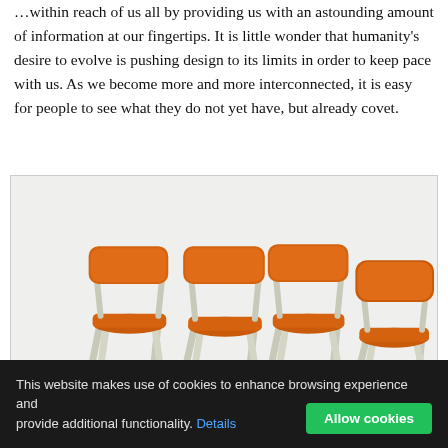…within reach of us all by providing us with an astounding amount of information at our fingertips. It is little wonder that humanity's desire to evolve is pushing design to its limits in order to keep pace with us. As we become more and more interconnected, it is easy for people to see what they do not yet have, but already covet.
[Figure (photo): Four mid-century modern dining chairs with orange upholstered seats and backs, and light-colored wooden frames, arranged in a cluster against a white/light gray background.]
This website makes use of cookies to enhance browsing experience and provide additional functionality. Details  Allow cookies